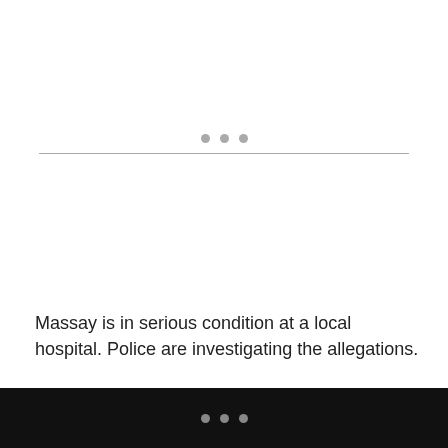[Figure (other): Three grey dots above a horizontal divider line, serving as a section separator]
Massay is in serious condition at a local hospital. Police are investigating the allegations.
Richmond is due in court on Monday.
• • •